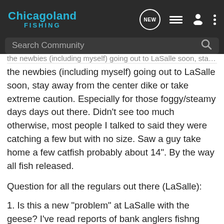Chicagoland FISHING
the newbies (including myself) going out to LaSalle soon, stay away from the center dike or take extreme caution. Especially for those foggy/steamy days days out there. Didn't see too much otherwise, most people I talked to said they were catching a few but with no size. Saw a guy take home a few catfish probably about 14". By the way all fish released.
Question for all the regulars out there (LaSalle):
1. Is this a new "problem" at LaSalle with the geese? I've read reports of bank anglers fishng down to 500, but I don't remember reading about people running into them. Were they there when the shuttle was around?
2. Is cleaning of your catch allowed on premises? Many